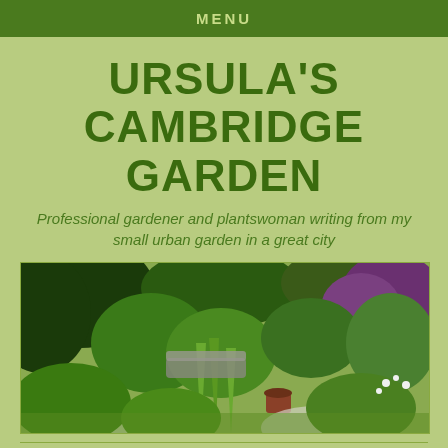MENU
URSULA'S CAMBRIDGE GARDEN
Professional gardener and plantswoman writing from my small urban garden in a great city
[Figure (photo): Garden photo showing lush green plants, shrubs, and trees in a small urban garden with garden furniture visible in the foreground]
CONTACT